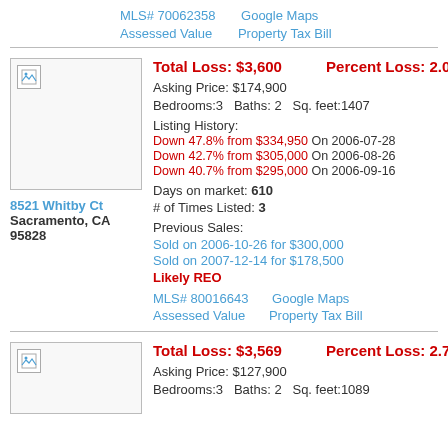MLS# 70062358   Google Maps
Assessed Value   Property Tax Bill
Total Loss: $3,600   Percent Loss: 2.0%
Asking Price: $174,900
Bedrooms:3   Baths: 2   Sq. feet:1407
Listing History:
Down 47.8% from $334,950 On 2006-07-28
Down 42.7% from $305,000 On 2006-08-26
Down 40.7% from $295,000 On 2006-09-16
Days on market: 610
# of Times Listed: 3
Previous Sales:
Sold on 2006-10-26 for $300,000
Sold on 2007-12-14 for $178,500
Likely REO
MLS# 80016643   Google Maps
Assessed Value   Property Tax Bill
8521 Whitby Ct
Sacramento, CA 95828
[Figure (photo): Broken image placeholder for property photo]
Total Loss: $3,569   Percent Loss: 2.7%
Asking Price: $127,900
Bedrooms:3   Baths: 2   Sq. feet:1089
[Figure (photo): Broken image placeholder for second property photo]